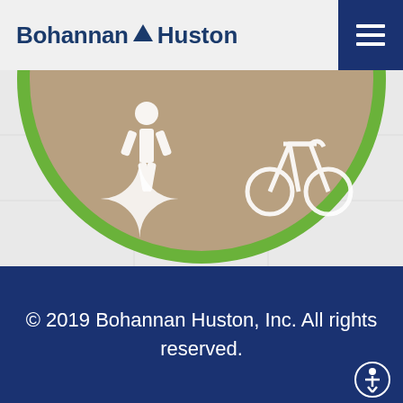Bohannan Huston
[Figure (photo): A circular road surface marking showing a pedestrian and bicycle symbol, with a bright green border, on a tan/brown pavement background. The image is partially cropped showing only the lower portion of the circle.]
© 2019 Bohannan Huston, Inc. All rights reserved.